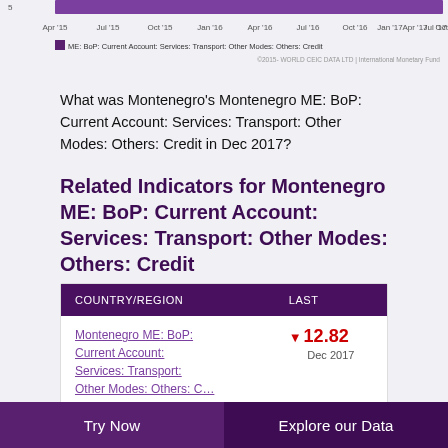[Figure (line-chart): Line chart showing Montenegro ME: BoP: Current Account: Services: Transport: Other Modes: Others: Credit over time from Apr 2015 to Oct 2017]
What was Montenegro's Montenegro ME: BoP: Current Account: Services: Transport: Other Modes: Others: Credit in Dec 2017?
Related Indicators for Montenegro ME: BoP: Current Account: Services: Transport: Other Modes: Others: Credit
| COUNTRY/REGION | LAST |
| --- | --- |
| Montenegro ME: BoP: Current Account: Services: Transport: Other Modes: Others: C… | ▼ 12.82
Dec 2017 |
Try Now    Explore our Data